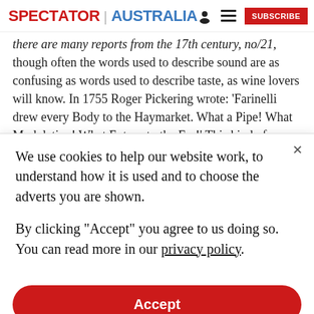SPECTATOR | AUSTRALIA
there are many reports from the 17th century, no/21, though often the words used to describe sound are as confusing as words used to describe taste, as wine lovers will know. In 1755 Roger Pickering wrote: ‘Farinelli drew every Body to the Haymarket. What a Pipe! What Modulation! What Extasy to the Ear!’ This kind of
We use cookies to help our website work, to understand how it is used and to choose the adverts you are shown.

By clicking "Accept" you agree to us doing so. You can read more in our privacy policy.
Accept